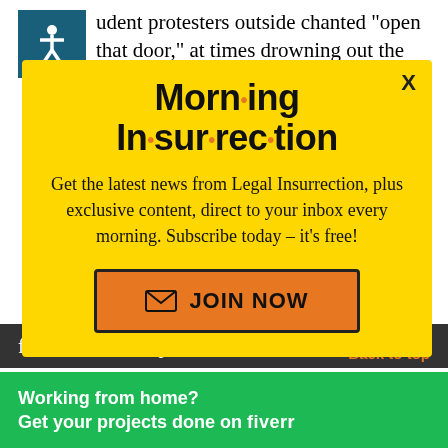udent protesters outside chanted "open that door," at times drowning out the Tea Party leader as at least one Cornell Police officer stood at the building's entrance. A Student
[Figure (other): Yellow modal popup for Morning Insurrection newsletter signup with title, description, and JOIN NOW button]
from the former speech ter.
Working from home? Get your projects done on fiverr